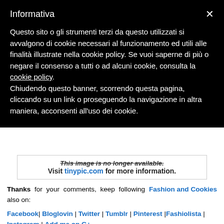Informativa
Questo sito o gli strumenti terzi da questo utilizzati si avvalgono di cookie necessari al funzionamento ed utili alle finalità illustrate nella cookie policy. Se vuoi saperne di più o negare il consenso a tutti o ad alcuni cookie, consulta la cookie policy. Chiudendo questo banner, scorrendo questa pagina, cliccando su un link o proseguendo la navigazione in altra maniera, acconsenti all'uso dei cookie.
[Figure (screenshot): Image placeholder: 'This image is no longer available. Visit tinypic.com for more information.']
Thanks for your comments, keep following Fashion and Cookies also on:
Facebook| Bloglovin | Twitter | Tumblr | Pinterest |Fashiolista | Instagram | Add me on G+
and my looks on: